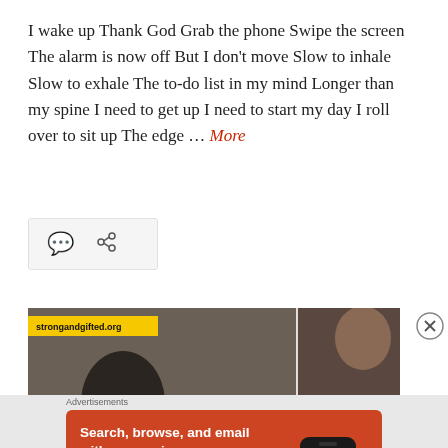I wake up Thank God Grab the phone Swipe the screen The alarm is now off But I don't move Slow to inhale Slow to exhale The to-do list in my mind Longer than my spine I need to get up I need to start my day I roll over to sit up The edge … More
[Figure (screenshot): Icon bar with comment bubble and share/link icons on a light gray background]
[Figure (photo): Partial photo of two people; left side shows a person from behind, right side shows a profile view of a person, with strongandgifted.org label overlay]
Advertisements
[Figure (screenshot): DuckDuckGo advertisement on orange background: Search, browse, and email with more privacy. All in One Free App. Shows phone with DuckDuckGo logo.]